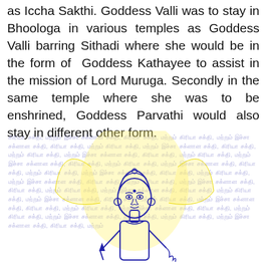as Iccha Sakthi. Goddess Valli was to stay in Bhoologa in various temples as Goddess Valli barring Sithadi where she would be in the form of Goddess Kathayee to assist in the mission of Lord Muruga. Secondly in the same temple where she was to be enshrined, Goddess Parvathi would also stay in different other form.
[Figure (illustration): Illustration of a Hindu deity (Lord Muruga/Goddess Valli) in blue line art, holding a spear/vel, with ornate jewelry and a halo/wings outline in yellow, overlaid on repeating Tamil text watermark reading 'கிரியா சக்தி, மற்றும் இச்சா சக்னான சக்தி']